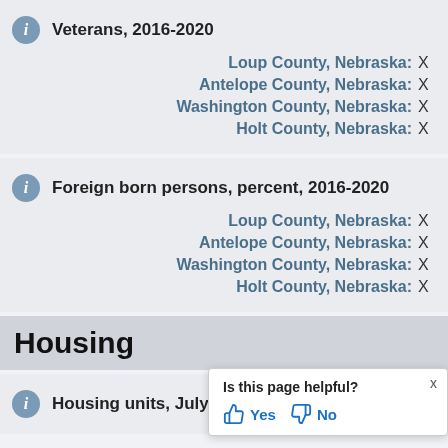Veterans, 2016-2020
Loup County, Nebraska: X
Antelope County, Nebraska: X
Washington County, Nebraska: X
Holt County, Nebraska: X
Foreign born persons, percent, 2016-2020
Loup County, Nebraska: X
Antelope County, Nebraska: X
Washington County, Nebraska: X
Holt County, Nebraska: X
Housing
Housing units, July 1, 2021, (V
Is this page helpful? Yes No